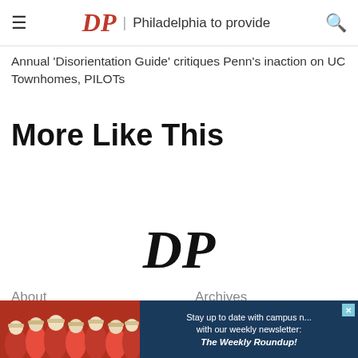DP | Philadelphia to provide
Annual 'Disorientation Guide' critiques Penn's inaction on UC Townhomes, PILOTs
More Like This
[Figure (logo): The Daily Pennsylvanian DP logo in blackletter style]
About
Archives
Staff List
Privacy Policy
Terms of Service
Advertise
Donate
Community Guide
DPAA
Contact Us
[Figure (photo): Advertisement banner showing crowd of people in red shirts with overlay text: Stay up to date with campus news with our weekly newsletter: The Weekly Roundup!]